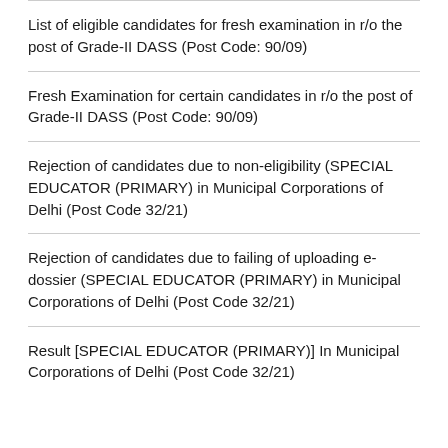List of eligible candidates for fresh examination in r/o the post of Grade-II DASS (Post Code: 90/09)
Fresh Examination for certain candidates in r/o the post of Grade-II DASS (Post Code: 90/09)
Rejection of candidates due to non-eligibility (SPECIAL EDUCATOR (PRIMARY) in Municipal Corporations of Delhi (Post Code 32/21)
Rejection of candidates due to failing of uploading e-dossier (SPECIAL EDUCATOR (PRIMARY) in Municipal Corporations of Delhi (Post Code 32/21)
Result [SPECIAL EDUCATOR (PRIMARY)] In Municipal Corporations of Delhi (Post Code 32/21)